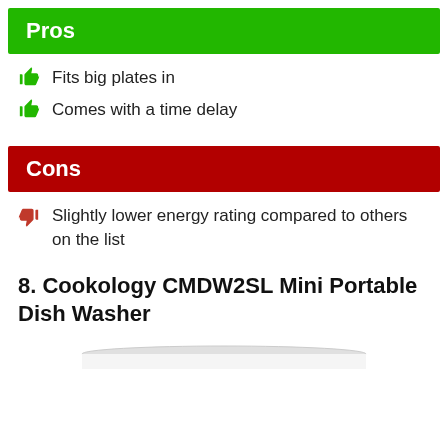Pros
Fits big plates in
Comes with a time delay
Cons
Slightly lower energy rating compared to others on the list
8. Cookology CMDW2SL Mini Portable Dish Washer
[Figure (photo): Partial image of the Cookology CMDW2SL Mini Portable Dish Washer, showing the top edge of the appliance]